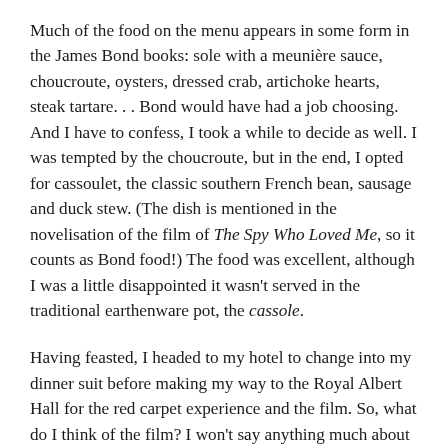Much of the food on the menu appears in some form in the James Bond books: sole with a meunière sauce, choucroute, oysters, dressed crab, artichoke hearts, steak tartare. . . Bond would have had a job choosing. And I have to confess, I took a while to decide as well. I was tempted by the choucroute, but in the end, I opted for cassoulet, the classic southern French bean, sausage and duck stew. (The dish is mentioned in the novelisation of the film of The Spy Who Loved Me, so it counts as Bond food!) The food was excellent, although I was a little disappointed it wasn't served in the traditional earthenware pot, the cassole.
Having feasted, I headed to my hotel to change into my dinner suit before making my way to the Royal Albert Hall for the red carpet experience and the film. So, what do I think of the film? I won't say anything much about it here – even the most innocuous details could hide spoilers – but I will say that I thought the film was amazing, well worth the